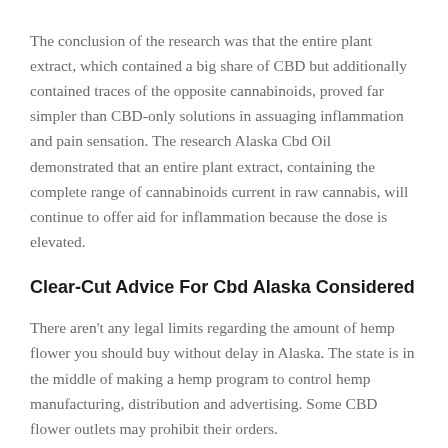The conclusion of the research was that the entire plant extract, which contained a big share of CBD but additionally contained traces of the opposite cannabinoids, proved far simpler than CBD-only solutions in assuaging inflammation and pain sensation. The research Alaska Cbd Oil demonstrated that an entire plant extract, containing the complete range of cannabinoids current in raw cannabis, will continue to offer aid for inflammation because the dose is elevated.
Clear-Cut Advice For Cbd Alaska Considered
There aren't any legal limits regarding the amount of hemp flower you should buy without delay in Alaska. The state is in the middle of making a hemp program to control hemp manufacturing, distribution and advertising. Some CBD flower outlets may prohibit their orders.